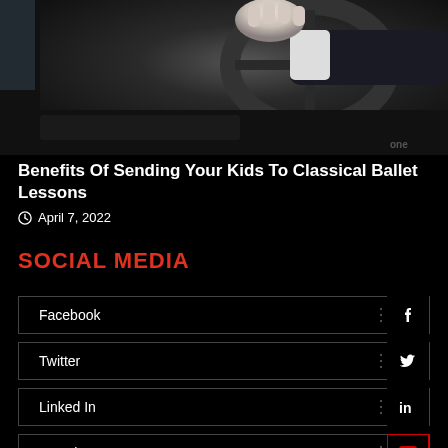[Figure (photo): Photo of a person in a suit gripping a car steering wheel, dashboard visible, taken from passenger side at close range.]
Benefits Of Sending Your Kids To Classical Ballet Lessons
April 7, 2022
SOCIAL MEDIA
Facebook
Twitter
Linked In
Youtube